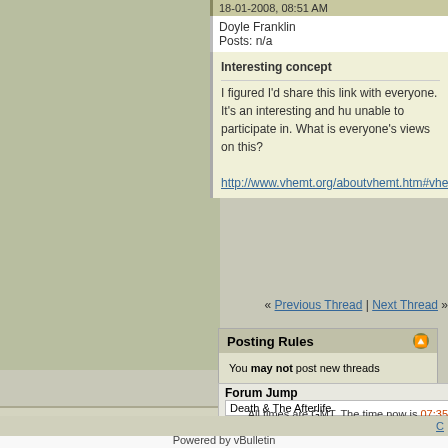18-01-2008, 08:51 AM
Doyle Franklin
Posts: n/a
Interesting concept
I figured I'd share this link with everyone. It's an interesting and hu unable to participate in. What is everyone's views on this?
http://www.vhemt.org/aboutvhemt.htm#vhemt
« Previous Thread | Next Thread »
Posting Rules
You may not post new threads
You may not post replies
You may not post attachments
You may not edit your posts
vB code is On
Smilies are On
[IMG] code is On
HTML code is Off
Forum Jump
Death & The Afterlife
All times are GMT. The time now is 07:35
C
Powered by vBulletin
Copyright ©2000 - 2022, Jelsoft Enterprises Ltd.
(c) Spiritual Forums